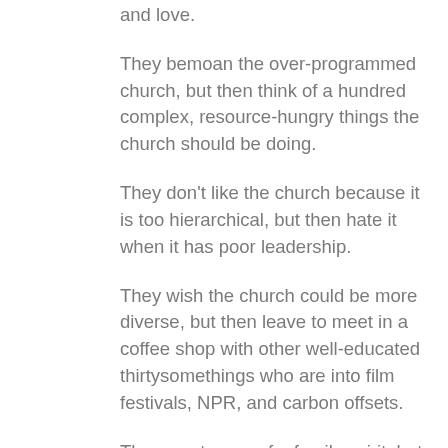and love.
They bemoan the over-programmed church, but then think of a hundred complex, resource-hungry things the church should be doing.
They don't like the church because it is too hierarchical, but then hate it when it has poor leadership.
They wish the church could be more diverse, but then leave to meet in a coffee shop with other well-educated thirtysomethings who are into film festivals, NPR, and carbon offsets.
They want more of a family spirit, but too much family and they'll complain that the church is 'inbred.'
They want the church to know that its reputation with outsiders is terrible, but then are critical when the church is too concerned with